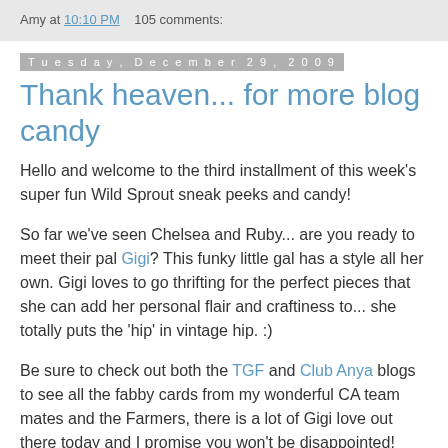Amy at 10:10 PM   105 comments:
Tuesday, December 29, 2009
Thank heaven... for more blog candy
Hello and welcome to the third installment of this week's super fun Wild Sprout sneak peeks and candy!
So far we've seen Chelsea and Ruby... are you ready to meet their pal Gigi? This funky little gal has a style all her own. Gigi loves to go thrifting for the perfect pieces that she can add her personal flair and craftiness to... she totally puts the 'hip' in vintage hip. :)
Be sure to check out both the TGF and Club Anya blogs to see all the fabby cards from my wonderful CA team mates and the Farmers, there is a lot of Gigi love out there today and I promise you won't be disappointed!
And of course Gigi has to have some yummy candy too so